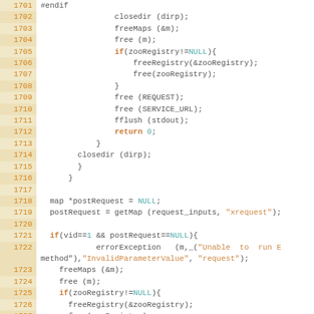[Figure (screenshot): Source code viewer showing C code lines 1701-1727 with line numbers on the left in orange/gold background and code on white background]